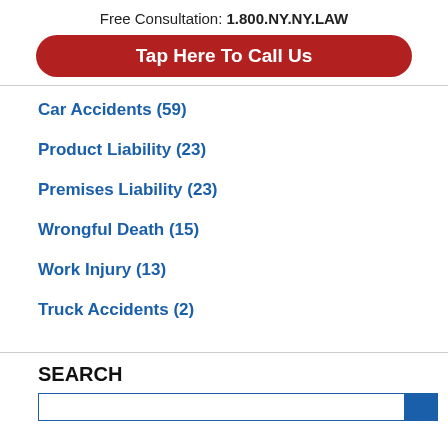Free Consultation: 1.800.NY.NY.LAW
[Figure (other): Red rounded button with white text: Tap Here To Call Us]
Car Accidents (59)
Product Liability (23)
Premises Liability (23)
Wrongful Death (15)
Work Injury (13)
Truck Accidents (2)
SEARCH